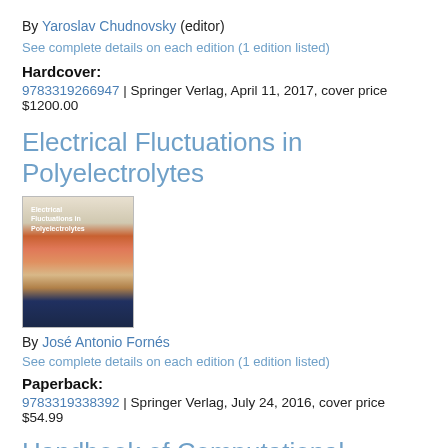By Yaroslav Chudnovsky (editor)
See complete details on each edition (1 edition listed)
Hardcover:
9783319266947 | Springer Verlag, April 11, 2017, cover price $1200.00
Electrical Fluctuations in Polyelectrolytes
[Figure (photo): Book cover of Electrical Fluctuations in Polyelectrolytes with colorful horizontal stripes]
By José Antonio Fornés
See complete details on each edition (1 edition listed)
Paperback:
9783319338392 | Springer Verlag, July 24, 2016, cover price $54.99
Handbook of Computational Chemistry